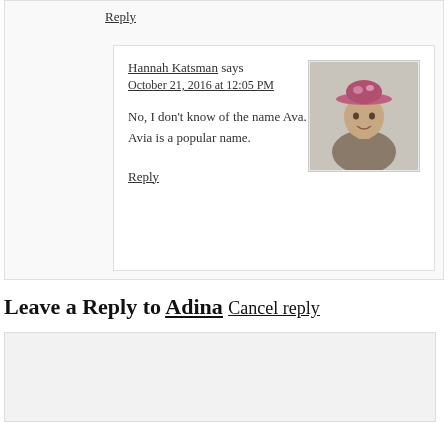Reply
Hannah Katsman says
October 21, 2016 at 12:05 PM
[Figure (photo): Profile photo of Hannah Katsman, a person wearing a decorative hat]
No, I don't know of the name Ava. Avia is a popular name.
Reply
Leave a Reply to Adina Cancel reply
[Figure (other): Comment text input area (empty text box)]